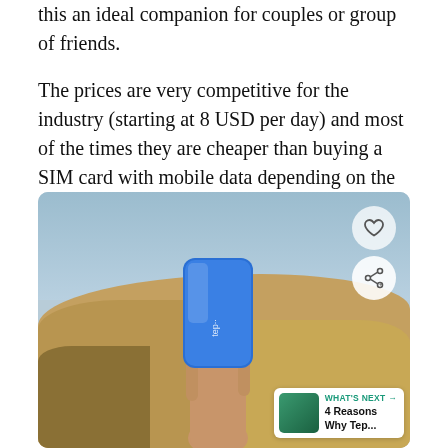this an ideal companion for couples or group of friends.
The prices are very competitive for the industry (starting at 8 USD per day) and most of the times they are cheaper than buying a SIM card with mobile data depending on the country so it’s wise to check the list of countries covered and analyzing how cheap/expensive is to get mobile data there.
[Figure (photo): A hand holding a blue Tep wireless device (pocket WiFi router) against a sandy desert dune landscape with blue sky in the background. Overlay buttons visible: heart/favorite icon, share icon, and a 'What's Next' banner showing '4 Reasons Why Tep...']